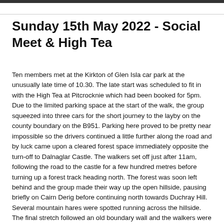Sunday 15th May 2022 - Social Meet & High Tea
Ten members met at the Kirkton of Glen Isla car park at the unusually late time of 10.30. The late start was scheduled to fit in with the High Tea at Pitcrocknie which had been booked for 5pm. Due to the limited parking space at the start of the walk, the group squeezed into three cars for the short journey to the layby on the county boundary on the B951. Parking here proved to be pretty near impossible so the drivers continued a little further along the road and by luck came upon a cleared forest space immediately opposite the turn-off to Dalnaglar Castle. The walkers set off just after 11am, following the road to the castle for a few hundred metres before turning up a forest track heading north. The forest was soon left behind and the group made their way up the open hillside, pausing briefly on Cairn Derig before continuing north towards Duchray Hill. Several mountain hares were spotted running across the hillside. The final stretch followed an old boundary wall and the walkers were glad of the shelter it provided from the increasingly strong east wind. Carn Bhinnein stood out prominently in the views to the north-west, with the Spittal of Glenshee tucked in low in the foreground. Further round to the north, the bulk of Glas Maol was evident. The wall continued right over the summit and